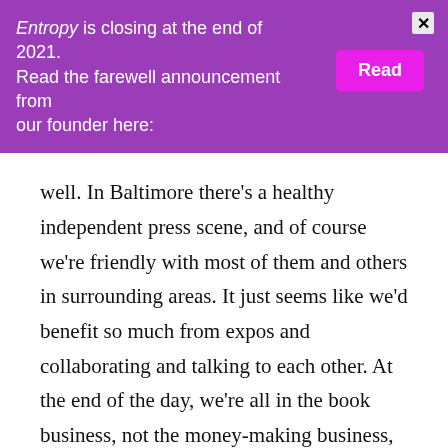Entropy is closing at the end of 2021. Read the farewell announcement from our founder here:
well. In Baltimore there’s a healthy independent press scene, and of course we’re friendly with most of them and others in surrounding areas. It just seems like we’d benefit so much from expos and collaborating and talking to each other. At the end of the day, we’re all in the book business, not the money-making business, and there’s so much to gain from working with fellow indie presses.
How do you cope? There’s been a lot of